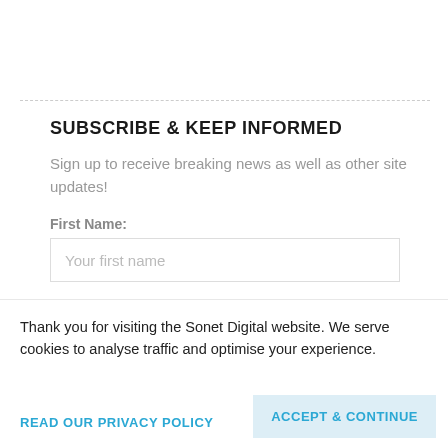SUBSCRIBE & KEEP INFORMED
Sign up to receive breaking news as well as other site updates!
First Name:
Your first name
Last Name:
Thank you for visiting the Sonet Digital website. We serve cookies to analyse traffic and optimise your experience.
READ OUR PRIVACY POLICY
ACCEPT & CONTINUE